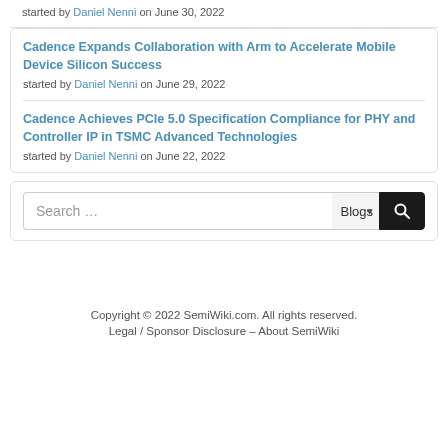started by Daniel Nenni on June 30, 2022
Cadence Expands Collaboration with Arm to Accelerate Mobile Device Silicon Success
started by Daniel Nenni on June 29, 2022
Cadence Achieves PCIe 5.0 Specification Compliance for PHY and Controller IP in TSMC Advanced Technologies
started by Daniel Nenni on June 22, 2022
Search ...
Copyright © 2022 SemiWiki.com. All rights reserved. Legal / Sponsor Disclosure – About SemiWiki